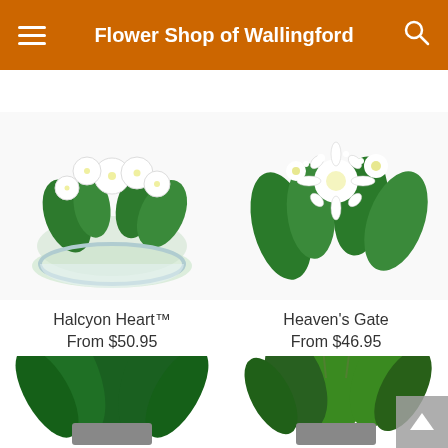Flower Shop of Wallingford
FREE Same Day Delivery ends in: 08 : 14 : 46
[Figure (photo): White flower arrangement in a glass bowl — Halcyon Heart]
Halcyon Heart™
From $50.95
[Figure (photo): White flower bouquet with gerbera daisies and greenery — Heaven's Gate]
Heaven's Gate
From $46.95
[Figure (photo): Large green peace lily plant in a pot]
[Figure (photo): Green plant with purple orchid flowers in a pot]